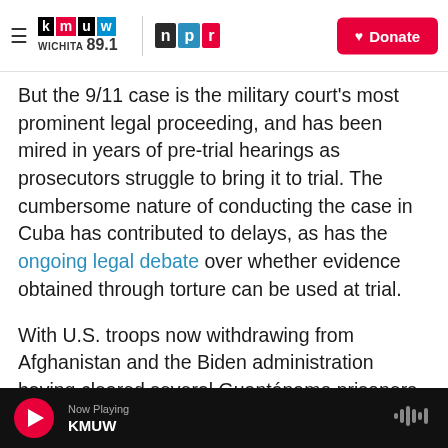KMUW Wichita 89.1 | NPR | Donate
But the 9/11 case is the military court's most prominent legal proceeding, and has been mired in years of pre-trial hearings as prosecutors struggle to bring it to trial. The cumbersome nature of conducting the case in Cuba has contributed to delays, as has the ongoing legal debate over whether evidence obtained through torture can be used at trial.
With U.S. troops now withdrawing from Afghanistan and the Biden administration having cleared several Guantánamo prisoners for transfer to other countries in recent months, several legal
Now Playing KMUW